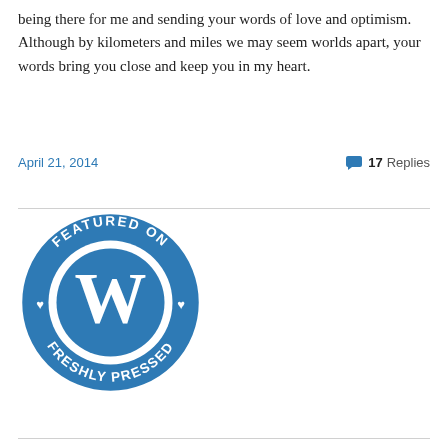being there for me and sending your words of love and optimism.  Although by kilometers and miles we may seem worlds apart, your words bring you close and keep you in my heart.
April 21, 2014
17 Replies
[Figure (logo): WordPress 'Featured on Freshly Pressed' circular badge in blue with white text and WordPress 'W' logo in the center]